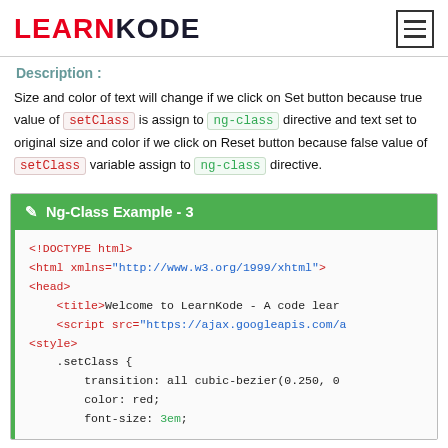LEARNKODE
Description :
Size and color of text will change if we click on Set button because true value of setClass is assign to ng-class directive and text set to original size and color if we click on Reset button because false value of setClass variable assign to ng-class directive.
✎ Ng-Class Example - 3
<!DOCTYPE html>
<html xmlns="http://www.w3.org/1999/xhtml">
<head>
    <title>Welcome to LearnKode - A code learn
    <script src="https://ajax.googleapis.com/a
<style>
    .setClass {
        transition: all cubic-bezier(0.250, 0
        color: red;
        font-size: 3em;